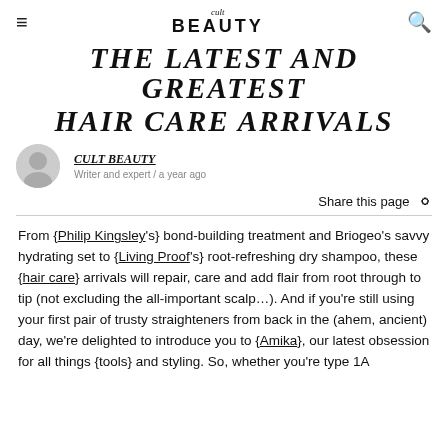cult BEAUTY (logo)
THE LATEST AND GREATEST HAIR CARE ARRIVALS
CULT BEAUTY
Writer and expert / a year ago
Share this page
From {Philip Kingsley's} bond-building treatment and Briogeo's savvy hydrating set to {Living Proof's} root-refreshing dry shampoo, these {hair care} arrivals will repair, care and add flair from root through to tip (not excluding the all-important scalp...). And if you're still using your first pair of trusty straighteners from back in the (ahem, ancient) day, we're delighted to introduce you to {Amika}, our latest obsession for all things {tools} and styling. So, whether you're type 1A